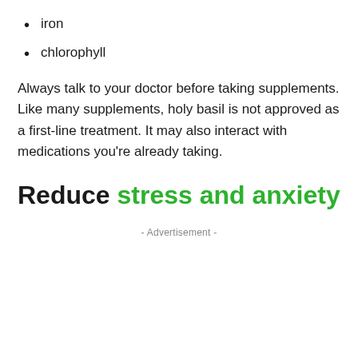iron
chlorophyll
Always talk to your doctor before taking supplements. Like many supplements, holy basil is not approved as a first-line treatment. It may also interact with medications you’re already taking.
Reduce stress and anxiety
- Advertisement -